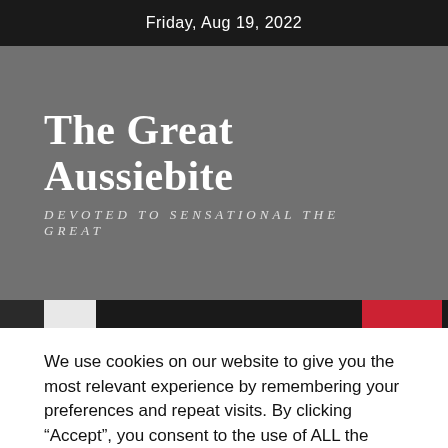Friday, Aug 19, 2022
The Great Aussiebite
DEVOTED TO SENSATIONAL THE GREAT
We use cookies on our website to give you the most relevant experience by remembering your preferences and repeat visits. By clicking "Accept", you consent to the use of ALL the cookies.
Cookie settings   ACCEPT